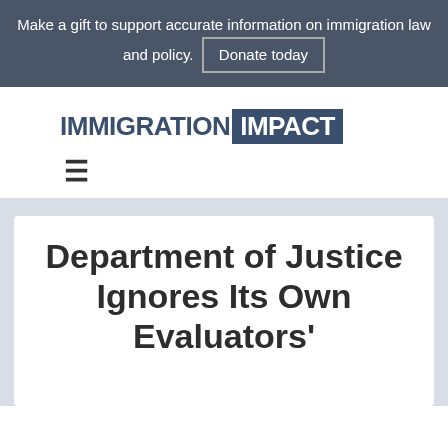Make a gift to support accurate information on immigration law and policy. Donate today
[Figure (logo): Immigration Impact logo — wordmark with IMMIGRATION in dark blue and IMPACT in white on dark blue background]
≡ (hamburger navigation menu icon)
Department of Justice Ignores Its Own Evaluators'